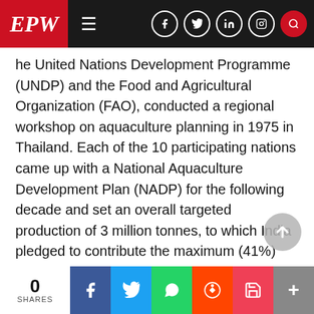EPW
he United Nations Development Programme (UNDP) and the Food and Agricultural Organization (FAO), conducted a regional workshop on aquaculture planning in 1975 in Thailand. Each of the 10 participating nations came up with a National Aquaculture Development Plan (NADP) for the following decade and set an overall targeted production of 3 million tonnes, to which India pledged to contribute the maximum (41%) (FAO 1976).

The proposed argument justifying the plan promote aquaculture in India was the increas...
0 SHARES  f  Twitter  WhatsApp  Reddit  Pocket  +